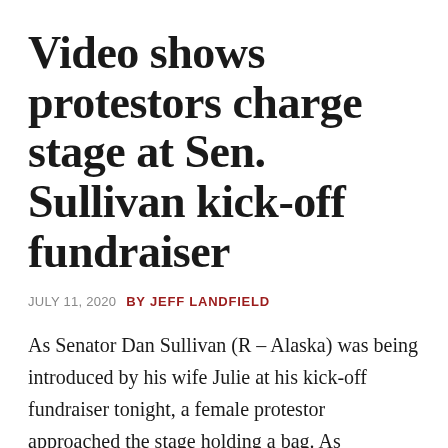Video shows protestors charge stage at Sen. Sullivan kick-off fundraiser
JULY 11, 2020  BY JEFF LANDFIELD
As Senator Dan Sullivan (R – Alaska) was being introduced by his wife Julie at his kick-off fundraiser tonight, a female protestor approached the stage holding a bag. As Sullivan's campaign manager, Matt Shuckerow, attempted to intervene, another woman charged him. Video obtained by the Landmine shows the entire thing. It is super loose!